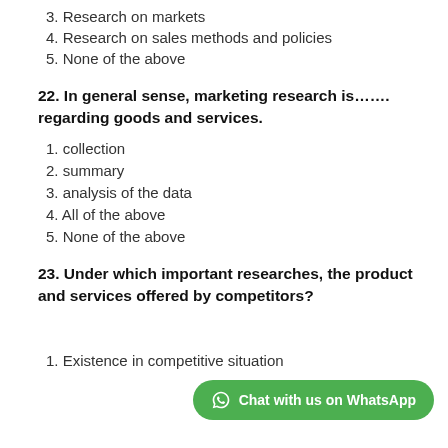3. Research on markets
4. Research on sales methods and policies
5. None of the above
22. In general sense, marketing research is……. regarding goods and services.
1. collection
2. summary
3. analysis of the data
4. All of the above
5. None of the above
23. Under which important researches, the product and services offered by competitors?
1. Existence in competitive situation